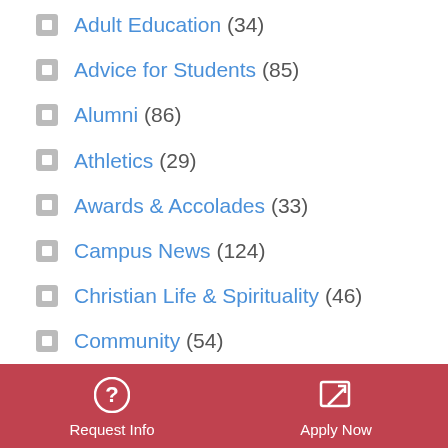Adult Education (34)
Advice for Students (85)
Alumni (86)
Athletics (29)
Awards & Accolades (33)
Campus News (124)
Christian Life & Spirituality (46)
Community (54)
ECHO Magazine (35)
ECHO Extras (38)
Request Info  Apply Now